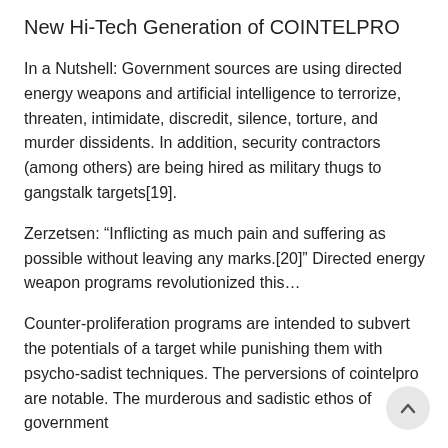New Hi-Tech Generation of COINTELPRO
In a Nutshell: Government sources are using directed energy weapons and artificial intelligence to terrorize, threaten, intimidate, discredit, silence, torture, and murder dissidents. In addition, security contractors (among others) are being hired as military thugs to gangstalk targets[19].
Zerzetsen: “Inflicting as much pain and suffering as possible without leaving any marks.[20]” Directed energy weapon programs revolutionized this…
Counter-proliferation programs are intended to subvert the potentials of a target while punishing them with psycho-sadist techniques. The perversions of cointelpro are notable. The murderous and sadistic ethos of government